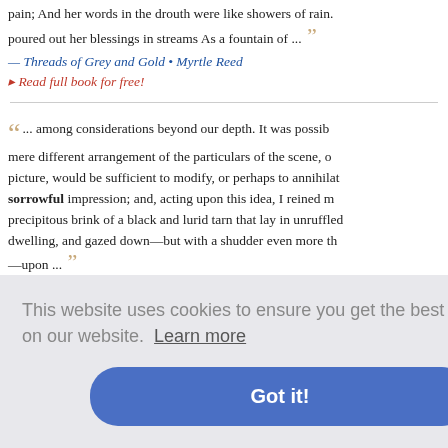pain; And her words in the drouth were like showers of rain. poured out her blessings in streams As a fountain of ...
— Threads of Grey and Gold • Myrtle Reed
‣ Read full book for free!
... among considerations beyond our depth. It was possible mere different arrangement of the particulars of the scene, of picture, would be sufficient to modify, or perhaps to annihilate sorrowful impression; and, acting upon this idea, I reined precipitous brink of a black and lurid tarn that lay in unruffled dwelling, and gazed down—but with a shudder even more th—upon ...
— The Works of Edgar Allan Poe - Volume 2 (of 5) of the Ra Allan Poe
This website uses cookies to ensure you get the best experience on our website. Learn more
Got it!
tain fanatic everything d broken o tion, for it w damaging blow ...